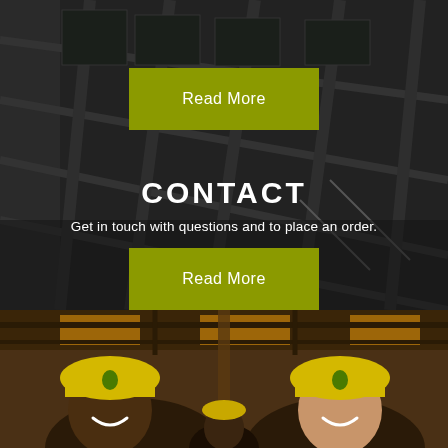[Figure (photo): Dark building under construction viewed from below at an angle, showing concrete and metal scaffolding structure]
Read More
CONTACT
Get in touch with questions and to place an order.
Read More
[Figure (photo): Two smiling construction workers wearing yellow hard hats with green leaf logos, photographed from below inside a building under construction with warm light through the roof]